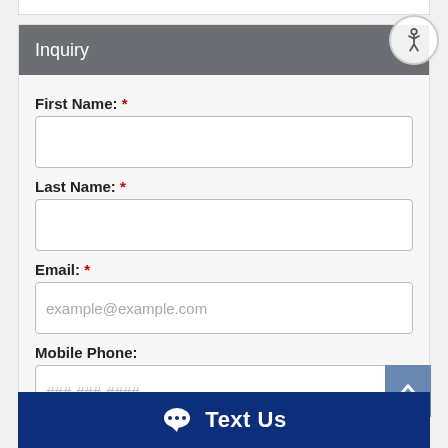Inquiry
First Name: *
Last Name: *
Email: *
example@example.com
Mobile Phone:
###-###-####
Home Phone:
Text Us